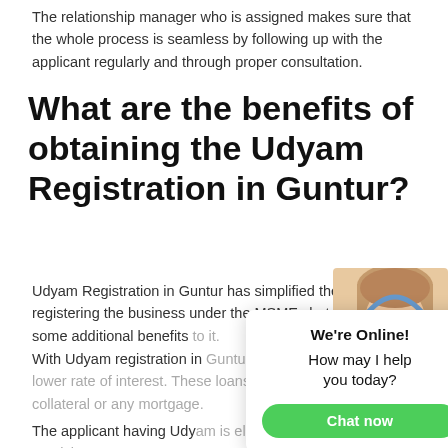The relationship manager who is assigned makes sure that the whole process is seamless by following up with the applicant regularly and through proper consultation.
What are the benefits of obtaining the Udyam Registration in Guntur?
Udyam Registration in Guntur has simplified the process of registering the business under the MSMEs but there are some additional benefits to it.
With Udyam registration in Guntur bank loans can be availed at a lower rate of interest. These loans can also be availed without collateral or any mortgage.
The applicant having Udyam is eligible for receiving government subsidies.
[Figure (screenshot): Live chat widget showing 'We're Online!' heading, 'How may I help you today?' message, and a green 'Chat now' button. An agent photo with headset is shown on the right.]